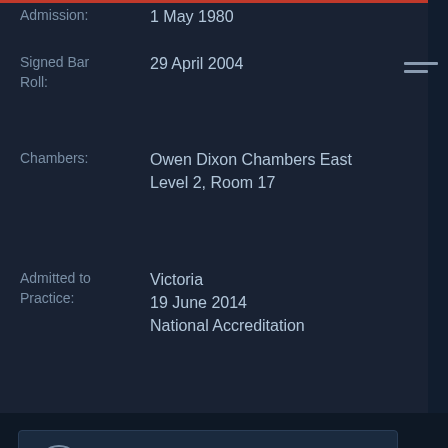Admission: 1 May 1980
Signed Bar Roll: 29 April 2004
Chambers: Owen Dixon Chambers East Level 2, Room 17
Admitted to Practice: Victoria 19 June 2014 National Accreditation
92225 7666
0438 637 638
f.john.morgan@vicbar.com.au